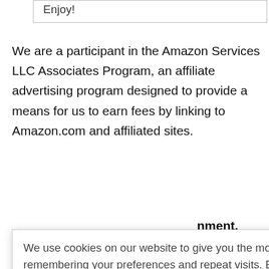Enjoy!
We are a participant in the Amazon Services LLC Associates Program, an affiliate advertising program designed to provide a means for us to earn fees by linking to Amazon.com and affiliated sites.
We use cookies on our website to give you the most relevant experience by remembering your preferences and repeat visits. By clicking “Accept All”, you consent to the use of ALL the cookies. However, you may visit "Cookie Settings" to provide a controlled consent.
Cookie Settings
Accept All
nment.
am. Learn
ed.